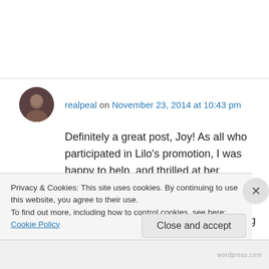realpeal on November 23, 2014 at 10:43 pm
Definitely a great post, Joy! As all who participated in Lilo's promotion, I was happy to help, and thrilled at her success. I hope her book continues to climb in the ratings! And, Joy, you ARE a part of the indie community. Just hang in there – you'll get it done! I know I'm looking forward to seeing your book published.
Privacy & Cookies: This site uses cookies. By continuing to use this website, you agree to their use.
To find out more, including how to control cookies, see here: Cookie Policy
Close and accept